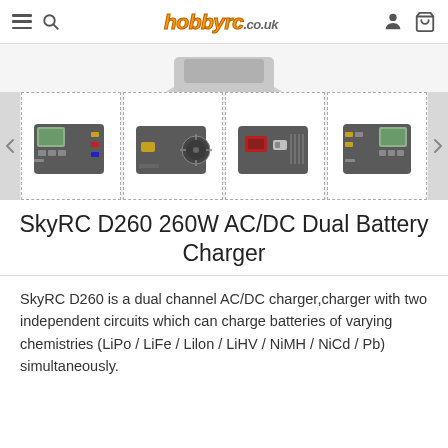hobbyrc.co.uk navigation header with hamburger menu, search, logo, account and cart icons
[Figure (photo): Partial top view of SkyRC D260 dual battery charger product photo]
[Figure (photo): Four thumbnail images of SkyRC D260 charger from different angles: front-left, rear with fan, rear with power socket, front-right with display]
SkyRC D260 260W AC/DC Dual Battery Charger
SkyRC D260 is a dual channel AC/DC charger,charger with two independent circuits which can charge batteries of varying chemistries (LiPo / LiFe / Lilon / LiHV / NiMH / NiCd / Pb) simultaneously.